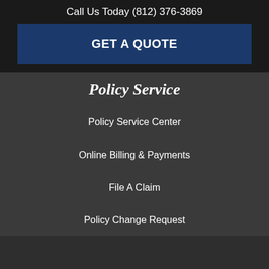Call Us Today (812) 376-3869
GET A QUOTE
Policy Service
Policy Service Center
Online Billing & Payments
File A Claim
Policy Change Request